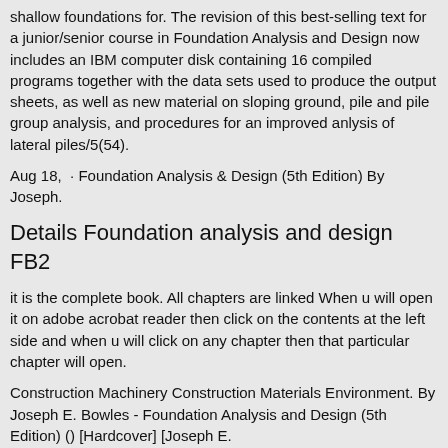shallow foundations for. The revision of this best-selling text for a junior/senior course in Foundation Analysis and Design now includes an IBM computer disk containing 16 compiled programs together with the data sets used to produce the output sheets, as well as new material on sloping ground, pile and pile group analysis, and procedures for an improved anlysis of lateral piles/5(54).
Aug 18,  · Foundation Analysis & Design (5th Edition) By Joseph.
Details Foundation analysis and design FB2
it is the complete book. All chapters are linked When u will open it on adobe acrobat reader then click on the contents at the left side and when u will click on any chapter then that particular chapter will open.
Construction Machinery Construction Materials Environment. By Joseph E. Bowles - Foundation Analysis and Design (5th Edition) () [Hardcover] [Joseph E.
Bowles] on jacksonmealsmatter.com *FREE* shipping on qualifying jacksonmealsmatter.com: $ Foundation Analysis and Desing Foundation Design Instructional Materials